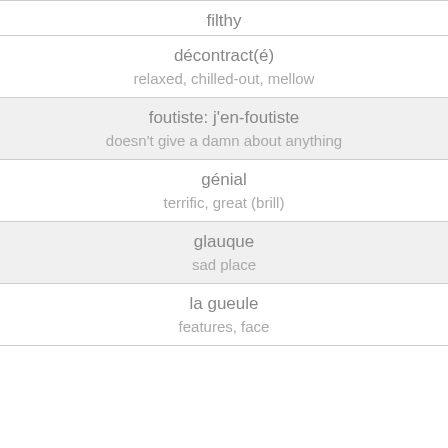| French | English |
| --- | --- |
| filthy |  |
| décontract(é) | relaxed, chilled-out, mellow |
| foutiste: j'en-foutiste | doesn't give a damn about anything |
| génial | terrific, great (brill) |
| glauque | sad place |
| la gueule | features, face |